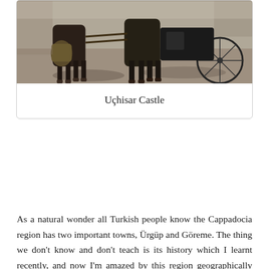[Figure (photo): Photograph of horses and a carriage at Uçhisar Castle area, viewed from ground level showing horse legs, harness bags, and a bicycle wheel visible in the background on a stone/cobblestone surface.]
Uçhisar Castle
As a natural wonder all Turkish people know the Cappadocia region has two important towns, Ürgüp and Göreme. The thing we don't know and don't teach is its history which I learnt recently, and now I'm amazed by this region geographically and historically. The region was used by the Hittites and Byzantines for centuries. In the 3rd century BC, they began carving the rocks and making their homes and shelters. There are a lot of ancient churches, graves and underground cities which were made to protect from enemies, and all them